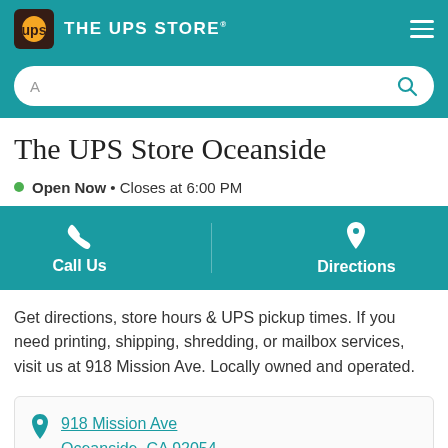THE UPS STORE
A (search bar)
The UPS Store Oceanside
Open Now • Closes at 6:00 PM
Call Us
Directions
Get directions, store hours & UPS pickup times. If you need printing, shipping, shredding, or mailbox services, visit us at 918 Mission Ave. Locally owned and operated.
918 Mission Ave
Oceanside, CA 92054